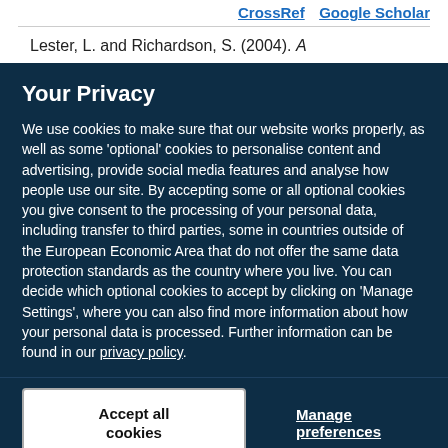CrossRef   Google Scholar
Lester, L. and Richardson, S. (2004). A
Your Privacy
We use cookies to make sure that our website works properly, as well as some ‘optional’ cookies to personalise content and advertising, provide social media features and analyse how people use our site. By accepting some or all optional cookies you give consent to the processing of your personal data, including transfer to third parties, some in countries outside of the European Economic Area that do not offer the same data protection standards as the country where you live. You can decide which optional cookies to accept by clicking on ‘Manage Settings’, where you can also find more information about how your personal data is processed. Further information can be found in our privacy policy.
Accept all cookies
Manage preferences